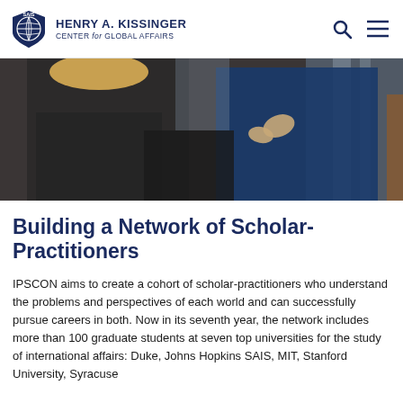HENRY A. KISSINGER CENTER for GLOBAL AFFAIRS
[Figure (photo): Two people in conversation, one gesturing with hands, indoor setting with large windows in background]
Building a Network of Scholar-Practitioners
IPSCON aims to create a cohort of scholar-practitioners who understand the problems and perspectives of each world and can successfully pursue careers in both. Now in its seventh year, the network includes more than 100 graduate students at seven top universities for the study of international affairs: Duke, Johns Hopkins SAIS, MIT, Stanford University, Syracuse